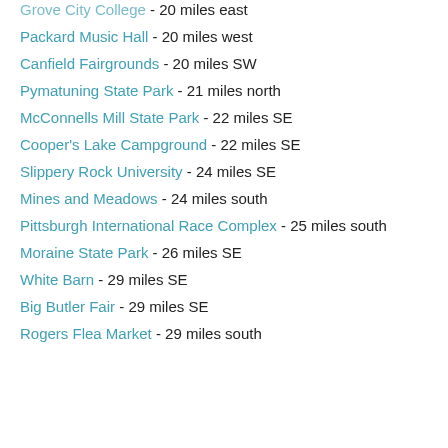Grove City College - 20 miles east
Packard Music Hall - 20 miles west
Canfield Fairgrounds - 20 miles SW
Pymatuning State Park - 21 miles north
McConnells Mill State Park - 22 miles SE
Cooper's Lake Campground - 22 miles SE
Slippery Rock University - 24 miles SE
Mines and Meadows - 24 miles south
Pittsburgh International Race Complex - 25 miles south
Moraine State Park - 26 miles SE
White Barn - 29 miles SE
Big Butler Fair - 29 miles SE
Rogers Flea Market - 29 miles south